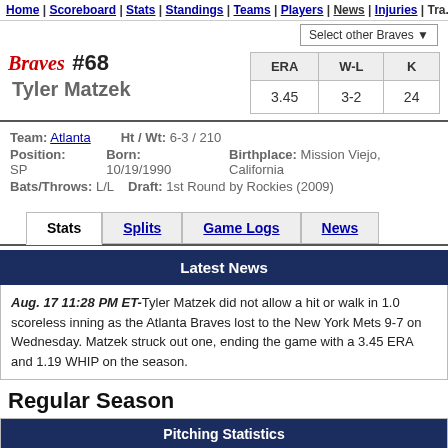Home | Scoreboard | Stats | Standings | Teams | Players | News | Injuries | Tra...
Select other Braves
#68 Tyler Matzek
| ERA | W-L | K |
| --- | --- | --- |
| 3.45 | 3-2 | 24 |
Team: Atlanta   Ht / Wt: 6-3 / 210
Position: SP   Born: 10/19/1990   Birthplace: Mission Viejo, California
Bats/Throws: L/L   Draft: 1st Round by Rockies (2009)
Stats | Splits | Game Logs | News
Latest News
Aug. 17 11:28 PM ET-Tyler Matzek did not allow a hit or walk in 1.0 scoreless inning as the Atlanta Braves lost to the New York Mets 9-7 on Wednesday. Matzek struck out one, ending the game with a 3.45 ERA and 1.19 WHIP on the season.
Regular Season
Pitching Statistics